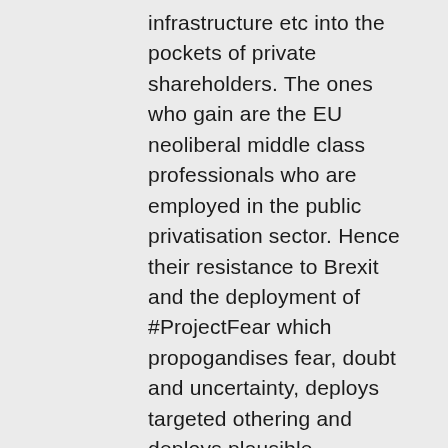infrastructure etc into the pockets of private shareholders. The ones who gain are the EU neoliberal middle class professionals who are employed in the public privatisation sector. Hence their resistance to Brexit and the deployment of #ProjectFear which propogandises fear, doubt and uncertainty, deploys targeted othering and deploys plausible denialism. These reverse psychology marketing strategies are the